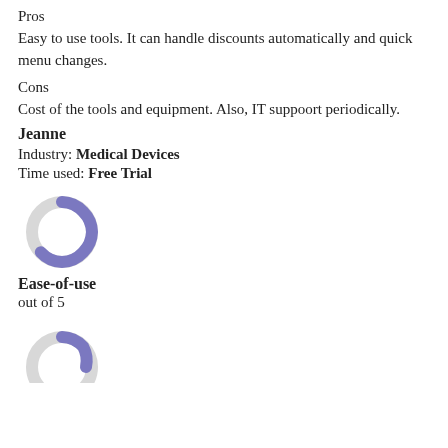Pros
Easy to use tools. It can handle discounts automatically and quick menu changes.
Cons
Cost of the tools and equipment. Also, IT suppoort periodically.
Jeanne
Industry: Medical Devices
Time used: Free Trial
[Figure (donut-chart): Partial donut/ring chart with purple segment on top-left, gray otherwise]
Ease-of-use
out of 5
[Figure (donut-chart): Partial donut/ring chart partially visible at bottom, purple segment on upper-left]